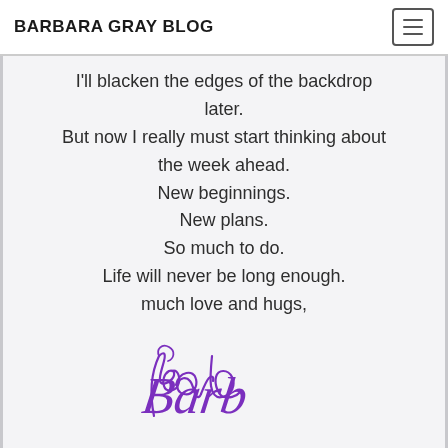BARBARA GRAY BLOG
I'll blacken the edges of the backdrop later.
But now I really must start thinking about the week ahead.
New beginnings.
New plans.
So much to do.
Life will never be long enough.
much love and hugs,
[Figure (illustration): Handwritten cursive signature reading 'Barb' in purple ink]